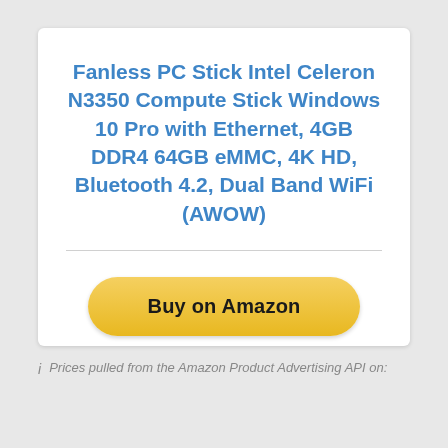Fanless PC Stick Intel Celeron N3350 Compute Stick Windows 10 Pro with Ethernet, 4GB DDR4 64GB eMMC, 4K HD, Bluetooth 4.2, Dual Band WiFi (AWOW)
[Figure (other): Yellow rounded rectangle button with bold text 'Buy on Amazon']
i  Prices pulled from the Amazon Product Advertising API on: